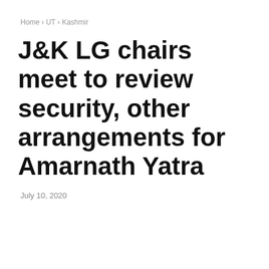Home › UT › Kashmir
J&K LG chairs meet to review security, other arrangements for Amarnath Yatra
July 10, 2020